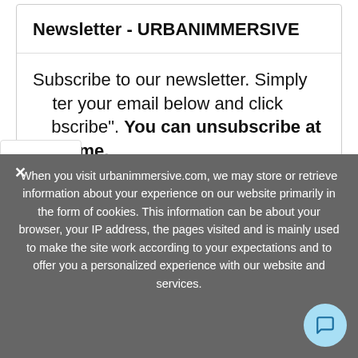Newsletter - URBANIMMERSIVE
Subscribe to our newsletter. Simply enter your email below and click "Subscribe". You can unsubscribe at any time.
Tweet
Share
When you visit urbanimmersive.com, we may store or retrieve information about your experience on our website primarily in the form of cookies. This information can be about your browser, your IP address, the pages visited and is mainly used to make the site work according to your expectations and to offer you a personalized experience with our website and services.